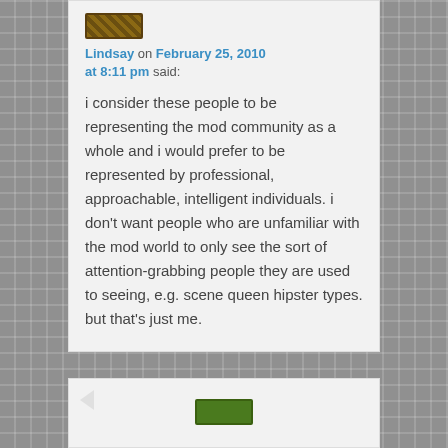[Figure (illustration): User avatar thumbnail — small brown/tan textured rectangle icon]
Lindsay on February 25, 2010 at 8:11 pm said:
i consider these people to be representing the mod community as a whole and i would prefer to be represented by professional, approachable, intelligent individuals. i don't want people who are unfamiliar with the mod world to only see the sort of attention-grabbing people they are used to seeing, e.g. scene queen hipster types. but that's just me.
[Figure (illustration): Second comment card partially visible at bottom with green avatar button]